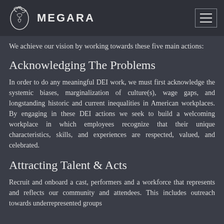MEGARA
We achieve our vision by working towards these five main actions:
Acknowledging The Problems
In order to do any meaningful DEI work, we must first acknowledge the systemic biases, marginalization of culture(s), wage gaps, and longstanding historic and current inequalities in American workplaces. By engaging in these DEI actions we seek to build a welcoming workplace in which employees recognize that their unique characteristics, skills, and experiences are respected, valued, and celebrated.
Attracting Talent & Acts
Recruit and onboard a cast, performers and a workforce that represents and reflects our community and attendees. This includes outreach towards underrepresented groups